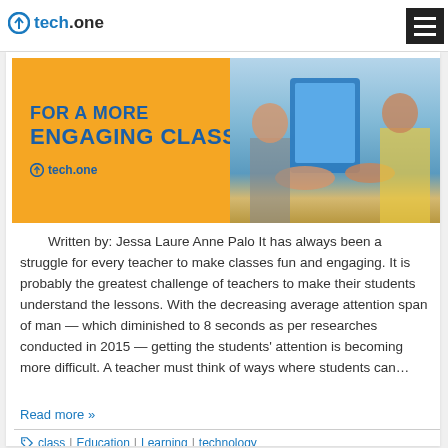tech.one
[Figure (illustration): Orange banner ad with text 'FOR A MORE ENGAGING CLASS' in dark blue bold, tech.one logo, and photo of students with a blue tablet on the right side]
Written by: Jessa Laure Anne Palo It has always been a struggle for every teacher to make classes fun and engaging. It is probably the greatest challenge of teachers to make their students understand the lessons. With the decreasing average attention span of man — which diminished to 8 seconds as per researches conducted in 2015 — getting the students' attention is becoming more difficult. A teacher must think of ways where students can…
Read more »
class | Education | Learning | technology
Education